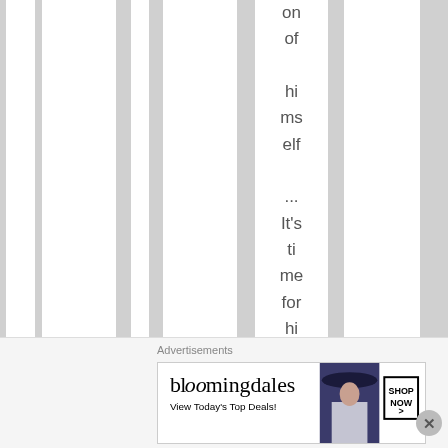on of himself ... It's time for him to sort himself
[Figure (illustration): Bloomingdales advertisement banner with logo, tagline 'View Today's Top Deals!', woman with hat photo, and SHOP NOW button]
Advertisements